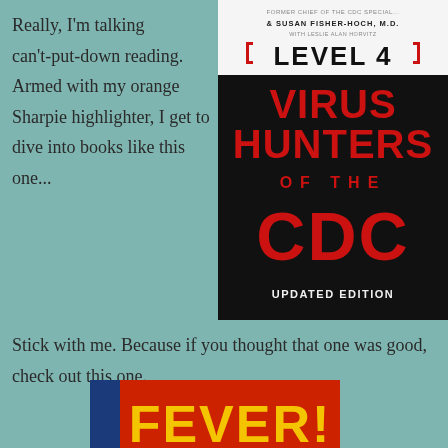Really, I'm talking can't-put-down reading. Armed with my orange Sharpie highlighter, I get to dive into books like this one...
[Figure (photo): Book cover of 'Level 4: Virus Hunters of the CDC' by Susan Fisher-Hoch, M.D. - Updated Edition. Black cover with large red text.]
Stick with me. Because if you thought that one was good, check out this one.
[Figure (photo): Book cover of 'Fever!' - red cover with large yellow text reading FEVER!]